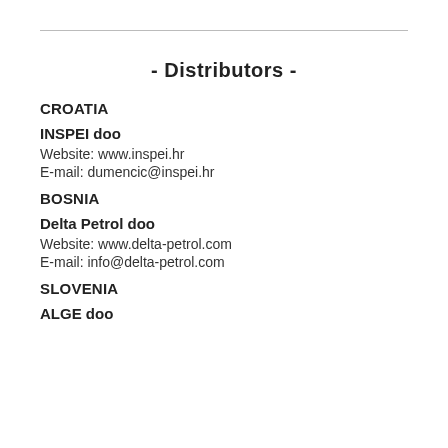- Distributors -
CROATIA
INSPEI doo
Website: www.inspei.hr
E-mail: dumencic@inspei.hr
BOSNIA
Delta Petrol doo
Website: www.delta-petrol.com
E-mail: info@delta-petrol.com
SLOVENIA
ALGE doo